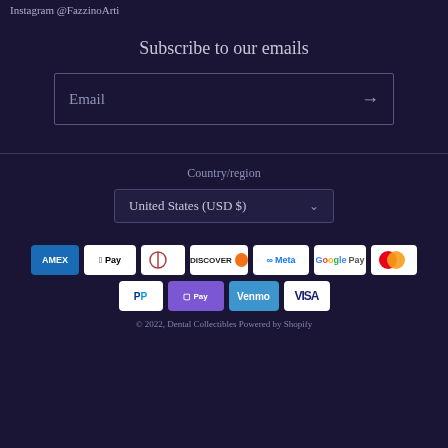Instagram @FazzinoArti
Subscribe to our emails
Email
Country/region
United States (USD $)
[Figure (other): Payment method icons: American Express, Apple Pay, Diners Club, Discover, Meta Pay, Google Pay, Mastercard, PayPal, Shop Pay, Venmo, Visa]
© 2022, Dental Collectibles Powered by Shopify